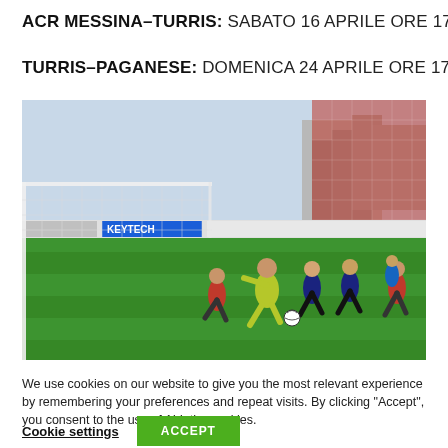ACR MESSINA–TURRIS: SABATO 16 APRILE ORE 17,30
TURRIS–PAGANESE: DOMENICA 24 APRILE ORE 17,30
[Figure (photo): Football match scene: players on a green pitch near a goal net. A goalkeeper in yellow-green kit crouches low; red-kitted attackers and dark-blue/black defenders are visible. Stadium stands with red seats and advertising boards (KEYTECH) in the background.]
We use cookies on our website to give you the most relevant experience by remembering your preferences and repeat visits. By clicking “Accept”, you consent to the use of ALL the cookies.
Cookie settings   ACCEPT